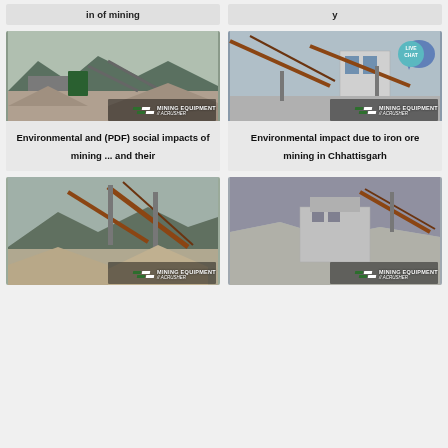in of mining
y
[Figure (photo): Mining equipment site with machinery, conveyor belts, and gravel piles in mountainous terrain. MINING EQUIPMENT ACRUSHER watermark.]
Environmental and (PDF) social impacts of mining ... and their
[Figure (photo): Mining facility with conveyor belts, industrial buildings. LIVE CHAT badge visible. MINING EQUIPMENT ACRUSHER watermark.]
Environmental impact due to iron ore mining in Chhattisgarh
[Figure (photo): Mining site with conveyor belts and large material piles. MINING EQUIPMENT ACRUSHER watermark.]
[Figure (photo): Mining crushing equipment and machinery at quarry site. MINING EQUIPMENT ACRUSHER watermark.]